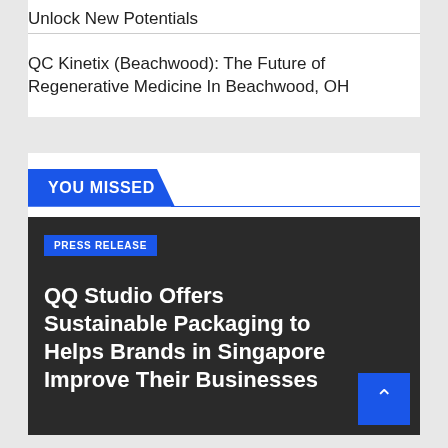Unlock New Potentials
QC Kinetix (Beachwood): The Future of Regenerative Medicine In Beachwood, OH
YOU MISSED
PRESS RELEASE
QQ Studio Offers Sustainable Packaging to Helps Brands in Singapore Improve Their Businesses